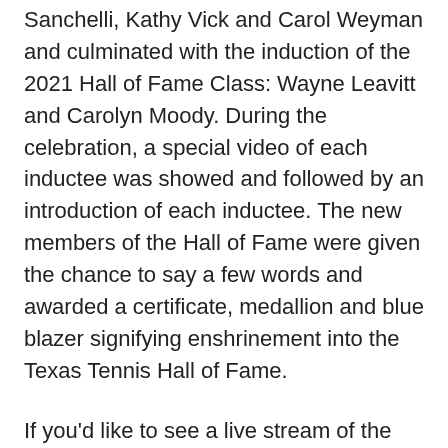Sanchelli, Kathy Vick and Carol Weyman and culminated with the induction of the 2021 Hall of Fame Class: Wayne Leavitt and Carolyn Moody. During the celebration, a special video of each inductee was showed and followed by an introduction of each inductee. The new members of the Hall of Fame were given the chance to say a few words and awarded a certificate, medallion and blue blazer signifying enshrinement into the Texas Tennis Hall of Fame.
If you'd like to see a live stream of the event, provided by TexMex Productions, visit our Facebook page